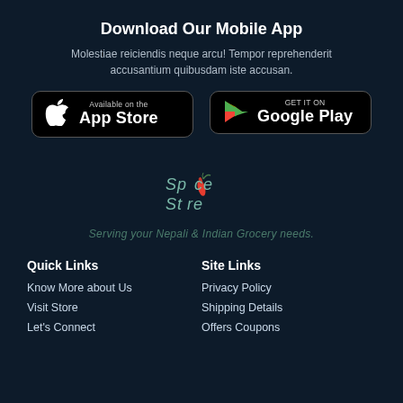Download Our Mobile App
Molestiae reiciendis neque arcu! Tempor reprehenderit accusantium quibusdam iste accusan.
[Figure (other): App Store button (black rounded rectangle with Apple logo and text 'Available on the App Store')]
[Figure (other): Google Play button (black rounded rectangle with Play Store triangle logo and text 'GET IT ON Google Play')]
[Figure (logo): Spice Store logo with chili pepper graphic and text 'Spice Store']
Serving your Nepali & Indian Grocery needs.
Quick Links
Site Links
Know More about Us
Privacy Policy
Visit Store
Shipping Details
Let's Connect
Offers Coupons